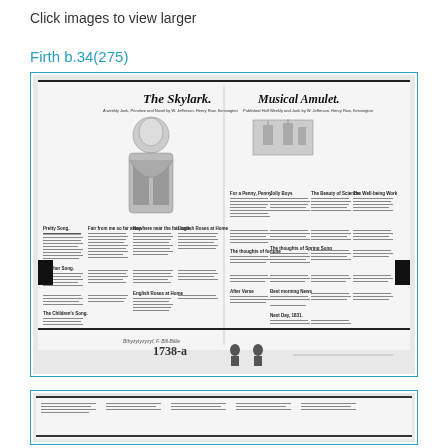Click images to view larger
Firth b.34(275)
[Figure (illustration): Scanned newspaper page showing two publications side by side: 'The Skylark' on the left (with an illustration of a robed figure) and 'Musical Amulet' on the right (with a ship/building illustration). Multiple columns of text fill the lower portion. Bottom shows catalogue number '1738-a' with two small figures. Below this is a partially visible second similar newspaper image.]
[Figure (illustration): Partially visible second newspaper scan at the bottom of the page, showing similar multi-column newspaper layout.]